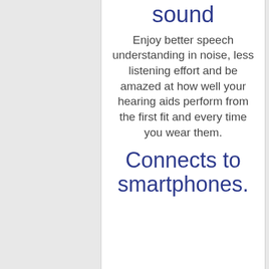sound
Enjoy better speech understanding in noise, less listening effort and be amazed at how well your hearing aids perform from the first fit and every time you wear them.
Connects to smartphones.